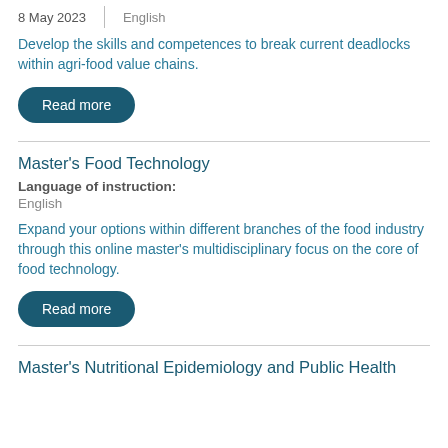8 May 2023 | English
Develop the skills and competences to break current deadlocks within agri-food value chains.
Read more
Master's Food Technology
Language of instruction: English
Expand your options within different branches of the food industry through this online master's multidisciplinary focus on the core of food technology.
Read more
Master's Nutritional Epidemiology and Public Health